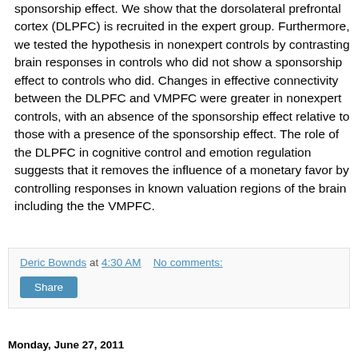sponsorship effect. We show that the dorsolateral prefrontal cortex (DLPFC) is recruited in the expert group. Furthermore, we tested the hypothesis in nonexpert controls by contrasting brain responses in controls who did not show a sponsorship effect to controls who did. Changes in effective connectivity between the DLPFC and VMPFC were greater in nonexpert controls, with an absence of the sponsorship effect relative to those with a presence of the sponsorship effect. The role of the DLPFC in cognitive control and emotion regulation suggests that it removes the influence of a monetary favor by controlling responses in known valuation regions of the brain including the the VMPFC.
Deric Bownds at 4:30 AM    No comments:
Share
Monday, June 27, 2011